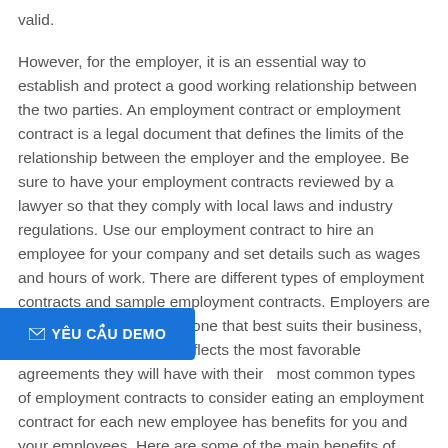valid.
However, for the employer, it is an essential way to establish and protect a good working relationship between the two parties. An employment contract or employment contract is a legal document that defines the limits of the relationship between the employer and the employee. Be sure to have your employment contracts reviewed by a lawyer so that they comply with local laws and industry regulations. Use our employment contract to hire an employee for your company and set details such as wages and hours of work. There are different types of employment contracts and sample employment contracts. Employers are tasked with choosing the one that best suits their business, the one that accurately reflects the most favorable agreements they will have with their most common types of employment contracts to consider. Creating an employment contract for each new employee has benefits for you and your employees. Here are some of the main benefits of employment contracts: